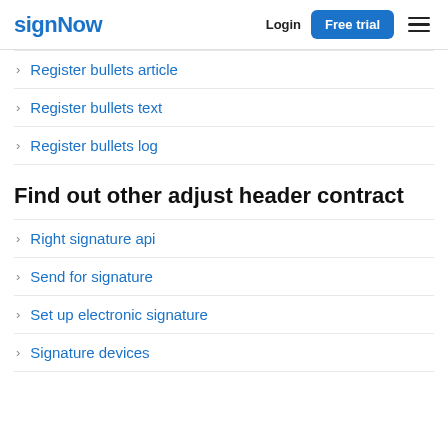signNow  Login  Free trial
Register bullets article
Register bullets text
Register bullets log
Find out other adjust header contract
Right signature api
Send for signature
Set up electronic signature
Signature devices